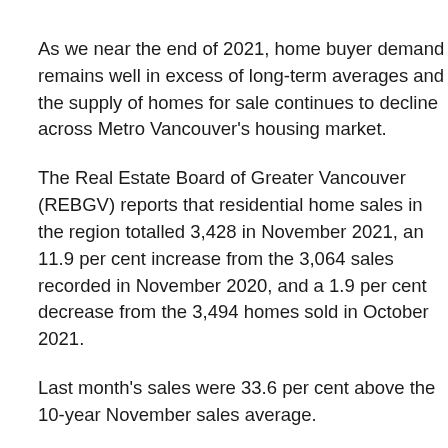As we near the end of 2021, home buyer demand remains well in excess of long-term averages and the supply of homes for sale continues to decline across Metro Vancouver's housing market.
The Real Estate Board of Greater Vancouver (REBGV) reports that residential home sales in the region totalled 3,428 in November 2021, an 11.9 per cent increase from the 3,064 sales recorded in November 2020, and a 1.9 per cent decrease from the 3,494 homes sold in October 2021.
Last month's sales were 33.6 per cent above the 10-year November sales average.
“We expect home sale totals to end the year at or